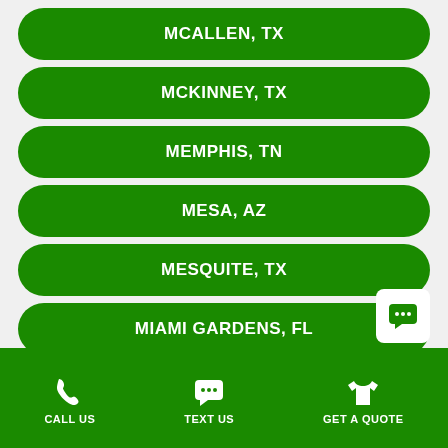MCALLEN, TX
MCKINNEY, TX
MEMPHIS, TN
MESA, AZ
MESQUITE, TX
MIAMI GARDENS, FL
MIAMI, FL
CALL US   TEXT US   GET A QUOTE